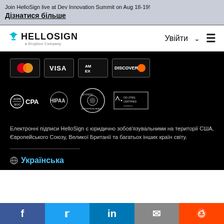Join HelloSign live at Dev Innovation Summit on Aug 18-19!
Дізнатися більше
[Figure (logo): HelloSign logo - a Dropbox Company, with Увійти and menu icon]
[Figure (infographic): Payment card logos: Mastercard, VISA, American Express, Discover]
[Figure (infographic): Certification badges: AICPA SOC CPA, HIPAA, SkyHigh Enterprise-Ready, ISO 27001 Certified]
Електронні підписи HelloSign є юридично зобов'язувальними на території США, Європейського Союзу, Великої Британії та багатьох інших країн світу.
Українська
f  Twitter  in  Email  Reddit